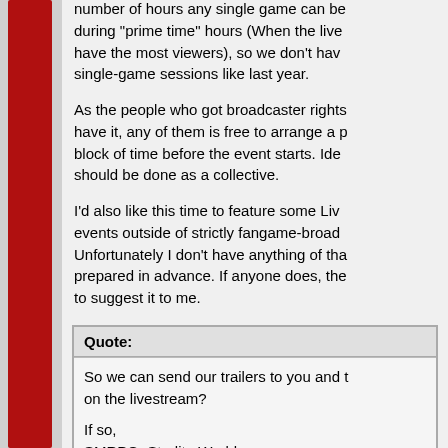number of hours any single game can be during "prime time" hours (When the live have the most viewers), so we don't hav single-game sessions like last year.
As the people who got broadcaster rights have it, any of them is free to arrange a block of time before the event starts. Ide should be done as a collective.
I'd also like this time to feature some Liv events outside of strictly fangame-broad Unfortunately I don't have anything of th prepared in advance. If anyone does, th to suggest it to me.
Quote:
So we can send our trailers to you and on the livestream?

If so,
SMRPG: Starlite Worlds

http://www.youtube.com/watch?v=GPel